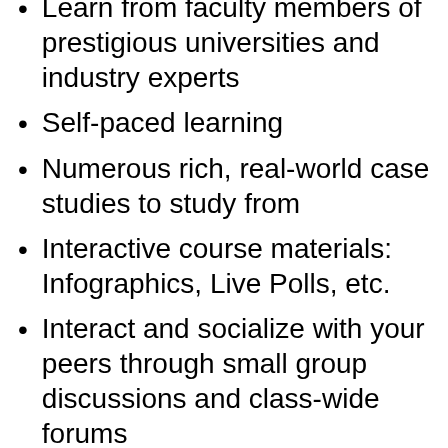Learn from faculty members of prestigious universities and industry experts
Self-paced learning
Numerous rich, real-world case studies to study from
Interactive course materials: Infographics, Live Polls, etc.
Interact and socialize with your peers through small group discussions and class-wide forums
Flexible payment options
Earn a noteworthy certificate of completion